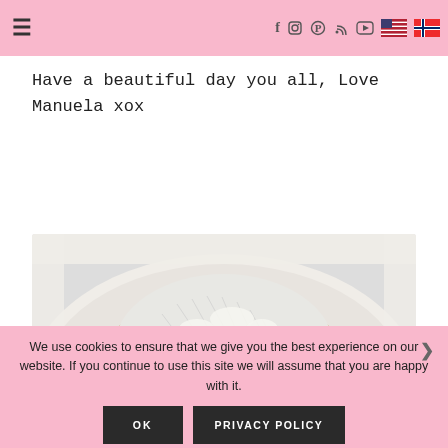Navigation bar with hamburger menu, social icons (f, Instagram, Pinterest, RSS, YouTube), US flag, Norwegian flag
Have a beautiful day you all, Love Manuela xox
[Figure (photo): Close-up top-down view of a donut or pastry topped with shredded coconut and chocolate, on a white plate]
We use cookies to ensure that we give you the best experience on our website. If you continue to use this site we will assume that you are happy with it.
OK   PRIVACY POLICY